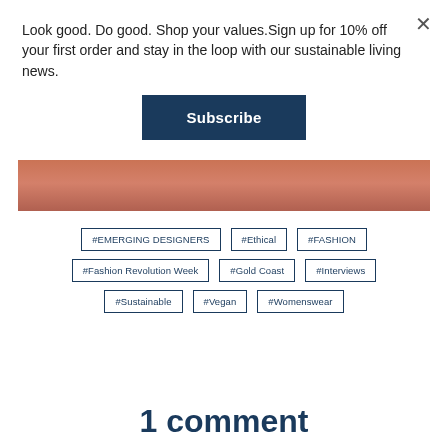Look good. Do good. Shop your values.Sign up for 10% off your first order and stay in the loop with our sustainable living news.
Subscribe
[Figure (photo): Partial view of a person wearing a pink/coral outfit]
#EMERGING DESIGNERS
#Ethical
#FASHION
#Fashion Revolution Week
#Gold Coast
#Interviews
#Sustainable
#Vegan
#Womenswear
1 comment